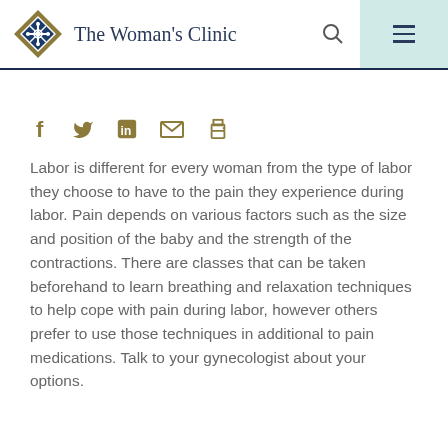The Woman's Clinic
[Figure (infographic): Social sharing icons: Facebook, Twitter, LinkedIn, Email, Print in olive/gold color]
Labor is different for every woman from the type of labor they choose to have to the pain they experience during labor. Pain depends on various factors such as the size and position of the baby and the strength of the contractions. There are classes that can be taken beforehand to learn breathing and relaxation techniques to help cope with pain during labor, however others prefer to use those techniques in additional to pain medications. Talk to your gynecologist about your options.